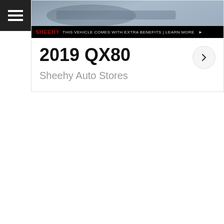[Figure (screenshot): Dark hamburger menu icon with three white horizontal lines on black background, top-left corner]
[Figure (photo): Partial view of a dark blue/grey car (2019 QX80) at top, with a Sheehy dealer banner overlay at bottom reading 'SHEEHY THIS VEHICLE COMES WITH EXTRA BENEFITS | LEARN MORE ▶']
2019 QX80
Sheehy Auto Stores